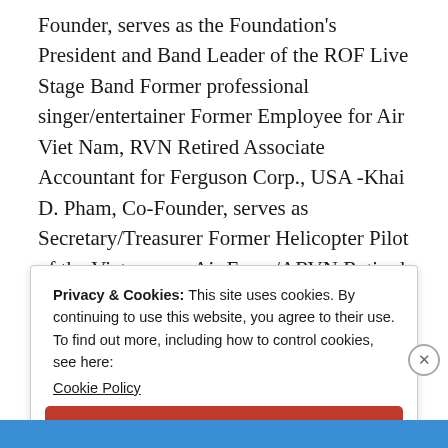Founder, serves as the Foundation's President and Band Leader of the ROF Live Stage Band Former professional singer/entertainer Former Employee for Air Viet Nam, RVN Retired Associate Accountant for Ferguson Corp., USA -Khai D. Pham, Co-Founder, serves as Secretary/Treasurer Former Helicopter Pilot of the Vietnamese Air Force/ARVN Retired Sr. Logistics Engineer for Northrop Grumman Corp., USA
View more posts
Privacy & Cookies: This site uses cookies. By continuing to use this website, you agree to their use.
To find out more, including how to control cookies, see here:
Cookie Policy
Close and accept